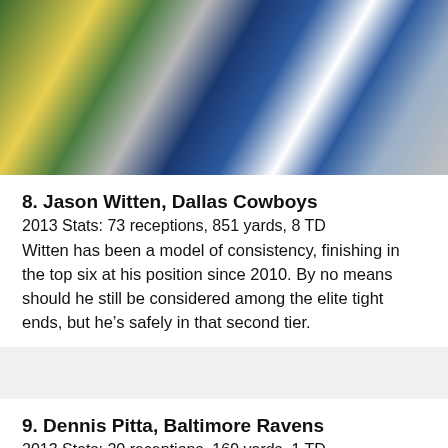[Figure (photo): NFL game action photo showing players from the Green Bay Packers and Dallas Cowboys in a tackle/catching scene]
8. Jason Witten, Dallas Cowboys
2013 Stats: 73 receptions, 851 yards, 8 TD
Witten has been a model of consistency, finishing in the top six at his position since 2010. By no means should he still be considered among the elite tight ends, but he’s safely in that second tier.
9. Dennis Pitta, Baltimore Ravens
2013 Stats: 20 receptions, 169 yards, 1 TD
He figures to be a big part of Baltimore’s passing